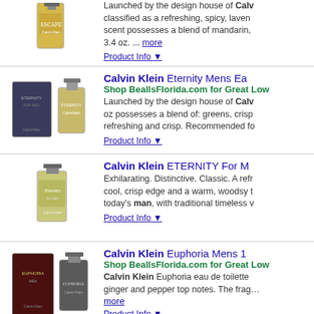[Figure (photo): Calvin Klein Escape perfume bottle (partial, cropped at top)]
Launched by the design house of Calvin Klein, classified as a refreshing, spicy, lavender scent possesses a blend of mandarin, 3.4 oz. ... more
Product Info ▼
Calvin Klein Eternity Mens Ea...
Shop BeallsFlorida.com for Great Low...
Launched by the design house of Calvin Klein, oz possesses a blend of: greens, crisp, refreshing and crisp. Recommended fo...
Product Info ▼
[Figure (photo): Calvin Klein Eternity cologne box and bottle]
Calvin Klein ETERNITY For M...
Exhilarating. Distinctive. Classic. A refreshing cool, crisp edge and a warm, woodsy today's man, with traditional timeless v...
Product Info ▼
[Figure (photo): Calvin Klein Eternity cologne bottle (single bottle)]
Calvin Klein Euphoria Mens 1...
Shop BeallsFlorida.com for Great Low...
Calvin Klein Euphoria eau de toilette ginger and pepper top notes. The fragrance middle notes of black basil and sage, a... more
Product Info ▼
[Figure (photo): Calvin Klein Euphoria cologne box and bottle]
Obsession Night for Men 4 oz...